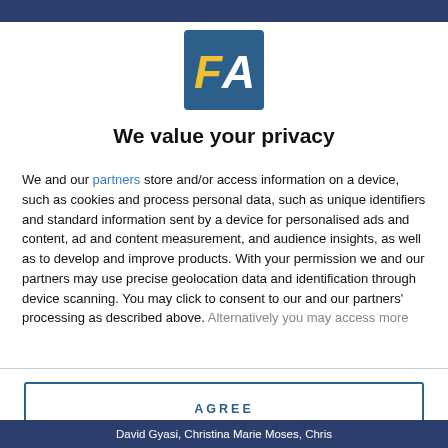[Figure (logo): FA logo — blue square background with yellow italic F and white italic A letters]
We value your privacy
We and our partners store and/or access information on a device, such as cookies and process personal data, such as unique identifiers and standard information sent by a device for personalised ads and content, ad and content measurement, and audience insights, as well as to develop and improve products. With your permission we and our partners may use precise geolocation data and identification through device scanning. You may click to consent to our and our partners' processing as described above. Alternatively you may access more
AGREE
MORE OPTIONS
David Gyasi, Christina Marie Moses, Chris